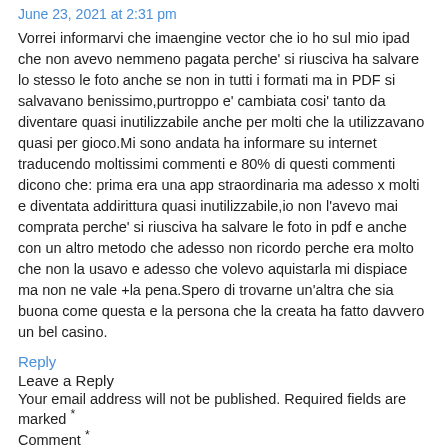June 23, 2021 at 2:31 pm
Vorrei informarvi che imaengine vector che io ho sul mio ipad che non avevo nemmeno pagata perche' si riusciva ha salvare lo stesso le foto anche se non in tutti i formati ma in PDF si salvavano benissimo,purtroppo e' cambiata cosi' tanto da diventare quasi inutilizzabile anche per molti che la utilizzavano quasi per gioco.Mi sono andata ha informare su internet traducendo moltissimi commenti e 80% di questi commenti dicono che: prima era una app straordinaria ma adesso x molti e diventata addirittura quasi inutilizzabile,io non l'avevo mai comprata perche' si riusciva ha salvare le foto in pdf e anche con un altro metodo che adesso non ricordo perche era molto che non la usavo e adesso che volevo aquistarla mi dispiace ma non ne vale +la pena.Spero di trovarne un'altra che sia buona come questa e la persona che la creata ha fatto davvero un bel casino.
Reply
Leave a Reply
Your email address will not be published. Required fields are marked *
Comment *